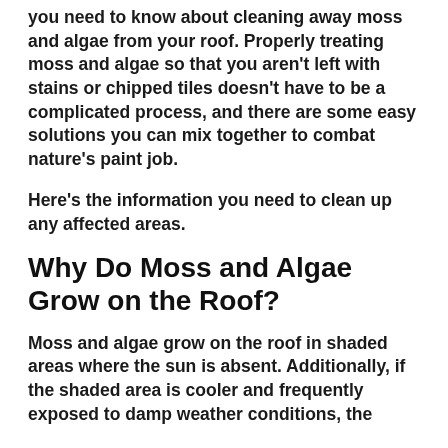you need to know about cleaning away moss and algae from your roof. Properly treating moss and algae so that you aren't left with stains or chipped tiles doesn't have to be a complicated process, and there are some easy solutions you can mix together to combat nature's paint job.
Here's the information you need to clean up any affected areas.
Why Do Moss and Algae Grow on the Roof?
Moss and algae grow on the roof in shaded areas where the sun is absent. Additionally, if the shaded area is cooler and frequently exposed to damp weather conditions, the